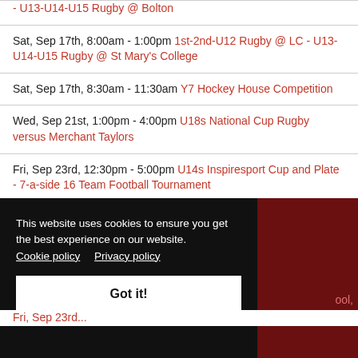- U13-U14-U15 Rugby @ Bolton
Sat, Sep 17th, 8:00am - 1:00pm 1st-2nd-U12 Rugby @ LC - U13-U14-U15 Rugby @ St Mary's College
Sat, Sep 17th, 8:30am - 11:30am Y7 Hockey House Competition
Wed, Sep 21st, 1:00pm - 4:00pm U18s National Cup Rugby versus Merchant Taylors
Fri, Sep 23rd, 12:30pm - 5:00pm U14s Inspiresport Cup and Plate - 7-a-side 16 Team Football Tournament
This website uses cookies to ensure you get the best experience on our website. Cookie policy  Privacy policy
Got it!
pool, 724